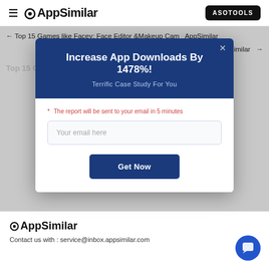AppSimilar | ASOTOOLS
← Top 15 Games like Facey: Face Editor &Makeup Cam AppSimilar
Similar →
[Figure (screenshot): Modal popup with dark blue header showing 'Increase App Downloads By 1478%!' title and 'Terrific Case Study For You' subtitle, email input field, and 'Get Now' button]
Top 15 G... ppSimilar
To... ilar
AppSimilar
Contact us with : service@inbox.appsimilar.com
Twitter AppSimilar